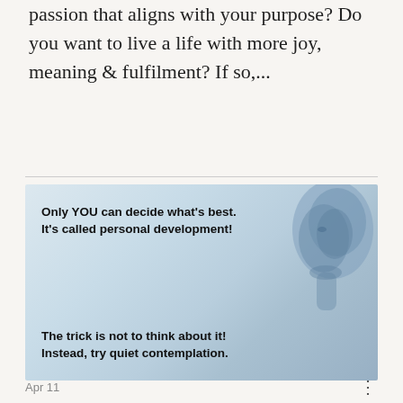passion that aligns with your purpose? Do you want to live a life with more joy, meaning & fulfilment? If so,...
[Figure (illustration): Motivational image with a bluish abstract human head sculpture on the right side, with bold text overlay: 'Only YOU can decide what's best. It's called personal development!' at the top left, and 'The trick is not to think about it! Instead, try quiet contemplation.' at the bottom left.]
Apr 11